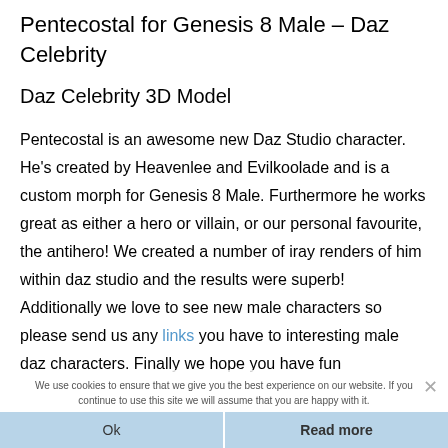Pentecostal for Genesis 8 Male – Daz Celebrity
Daz Celebrity 3D Model
Pentecostal is an awesome new Daz Studio character. He's created by Heavenlee and Evilkoolade and is a custom morph for Genesis 8 Male. Furthermore he works great as either a hero or villain, or our personal favourite, the antihero! We created a number of iray renders of him within daz studio and the results were superb! Additionally we love to see new male characters so please send us any links you have to interesting male daz characters. Finally we hope you have fun
We use cookies to ensure that we give you the best experience on our website. If you continue to use this site we will assume that you are happy with it.